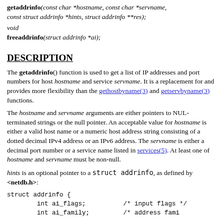getaddrinfo(const char *hostname, const char *servname, const struct addrinfo *hints, struct addrinfo **res);
void
freeaddrinfo(struct addrinfo *ai);
DESCRIPTION
The getaddrinfo() function is used to get a list of IP addresses and port numbers for host hostname and service servname. It is a replacement for and provides more flexibility than the gethostbyname(3) and getservbyname(3) functions.
The hostname and servname arguments are either pointers to NUL-terminated strings or the null pointer. An acceptable value for hostname is either a valid host name or a numeric host address string consisting of a dotted decimal IPv4 address or an IPv6 address. The servname is either a decimal port number or a service name listed in services(5). At least one of hostname and servname must be non-null.
hints is an optional pointer to a struct addrinfo, as defined by <netdb.h>:
struct addrinfo {
        int ai_flags;          /* input flags */
        int ai_family;         /* address family */